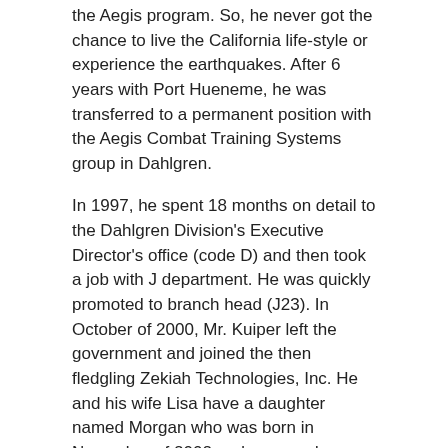the Aegis program. So, he never got the chance to live the California life-style or experience the earthquakes. After 6 years with Port Hueneme, he was transferred to a permanent position with the Aegis Combat Training Systems group in Dahlgren.
In 1997, he spent 18 months on detail to the Dahlgren Division's Executive Director's office (code D) and then took a job with J department. He was quickly promoted to branch head (J23). In October of 2000, Mr. Kuiper left the government and joined the then fledgling Zekiah Technologies, Inc. He and his wife Lisa have a daughter named Morgan who was born in November of 2002 and a second daughter, Claire, born in April 07. He enjoys playing soccer competitively, no limit poker tournaments, traveling, and snow skiing whenever he gets the chance (which isn't much anymore). He also dabbles with woodworking projects as time allows and spends too much time updating his house which was built and decorated in the late 40's.